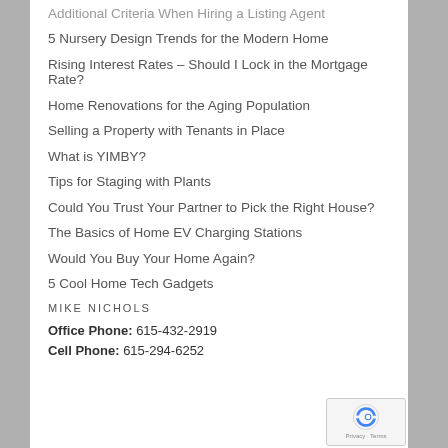Additional Criteria When Hiring a Listing Agent
5 Nursery Design Trends for the Modern Home
Rising Interest Rates – Should I Lock in the Mortgage Rate?
Home Renovations for the Aging Population
Selling a Property with Tenants in Place
What is YIMBY?
Tips for Staging with Plants
Could You Trust Your Partner to Pick the Right House?
The Basics of Home EV Charging Stations
Would You Buy Your Home Again?
5 Cool Home Tech Gadgets
MIKE NICHOLS
Office Phone: 615-432-2919
Cell Phone: 615-294-6252